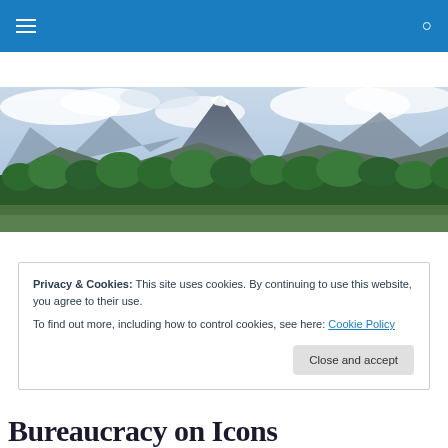Navigation bar with menu icon and search icon
[Figure (photo): Panoramic landscape photo showing mountain peaks (Grand Tetons-style) with green trees and cloudy sky in the foreground]
Privacy & Cookies: This site uses cookies. By continuing to use this website, you agree to their use.
To find out more, including how to control cookies, see here: Cookie Policy
Close and accept
Bureaucracy on Icons